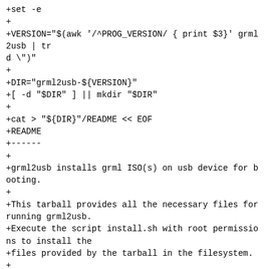+set -e
+
+VERSION="$(awk '/^PROG_VERSION/ { print $3}' grml2usb | tr d \")"
+
+DIR="grml2usb-${VERSION}"
+[ -d "$DIR" ] || mkdir "$DIR"
+
+cat > "${DIR}"/README << EOF
+README
+------
+
+grml2usb installs grml ISO(s) on usb device for booting.
+
+This tarball provides all the necessary files for running grml2usb.
+Execute the script install.sh with root permissions to install the
+files provided by the tarball in the filesystem.
+
+Updating is possible via downloading the most recent tarball and
+executing install.sh again.
+
+If you want to remove grml2usb from your system just execute
+the provided uninstall.sh script with root permissions.
+
+Note:
+